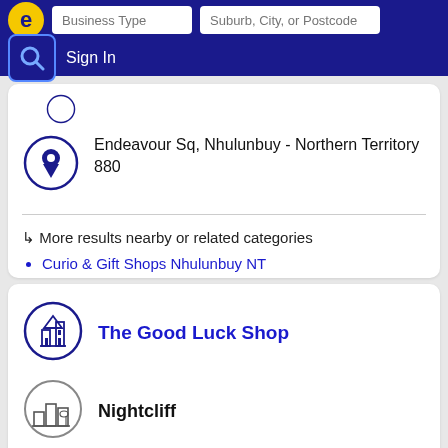Business Type | Suburb, City, or Postcode
Sign In
Endeavour Sq, Nhulunbuy - Northern Territory 880
↳ More results nearby or related categories
Curio & Gift Shops Nhulunbuy NT
The Good Luck Shop
Nightcliff
Call 08 89855926